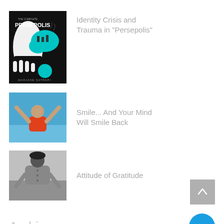[Figure (photo): Book cover of 'The Complete Persepolis' by Marjane Satrapi — black background with stylized illustration]
Identity Crisis and Trauma in "Persepolis"
[Figure (photo): Person in red shirt standing outdoors with arms raised against blue sky]
Smile... And Your Mind Will Smile Back
[Figure (photo): Black and white photo of person bending forward outdoors]
Attitude of Gratitude
Archive